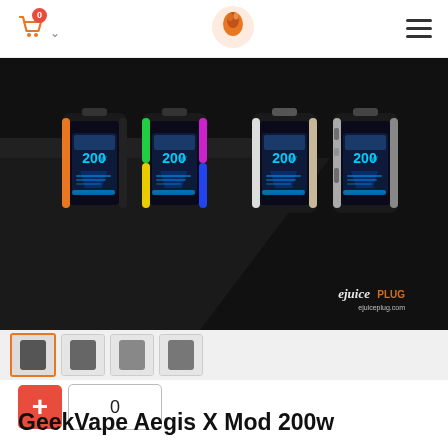navigation bar with cart icon (0), logo, and hamburger menu
[Figure (photo): GeekVape Aegis X Mod 200w product photo showing four color variants (orange, green/rainbow, white/tan, camo) of the box mod, each displaying '200w' on screen, with ejuiceplug.com watermark logo in bottom right]
[Figure (photo): Thumbnail strip showing multiple product image thumbnails including one highlighted/active thumbnail]
+ 0
GeekVape Aegis X Mod 200w